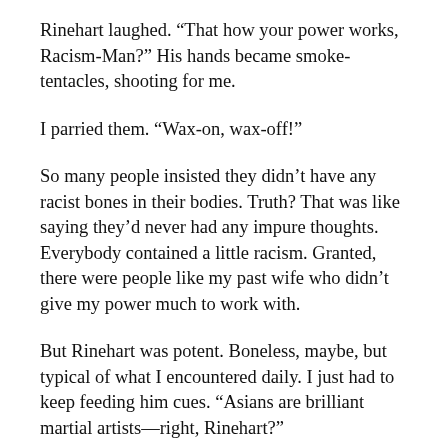Rinehart laughed. “That how your power works, Racism-Man?” His hands became smoke-tentacles, shooting for me.
I parried them. “Wax-on, wax-off!”
So many people insisted they didn’t have any racist bones in their bodies. Truth? That was like saying they’d never had any impure thoughts. Everybody contained a little racism. Granted, there were people like my past wife who didn’t give my power much to work with.
But Rinehart was potent. Boneless, maybe, but typical of what I encountered daily. I just had to keep feeding him cues. “Asians are brilliant martial artists—right, Rinehart?”
Whenever I struck, he became intangible—I hit